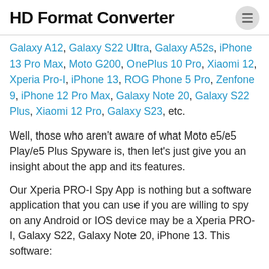HD Format Converter
Galaxy A12, Galaxy S22 Ultra, Galaxy A52s, iPhone 13 Pro Max, Moto G200, OnePlus 10 Pro, Xiaomi 12, Xperia Pro-I, iPhone 13, ROG Phone 5 Pro, Zenfone 9, iPhone 12 Pro Max, Galaxy Note 20, Galaxy S22 Plus, Xiaomi 12 Pro, Galaxy S23, etc.
Well, those who aren't aware of what Moto e5/e5 Play/e5 Plus Spyware is, then let's just give you an insight about the app and its features.
Our Xperia PRO-I Spy App is nothing but a software application that you can use if you are willing to spy on any Android or IOS device may be a Xperia PRO-I, Galaxy S22, Galaxy Note 20, iPhone 13. This software:
Is very popular among teenagers who want to keep an eye on their cheating partner whom